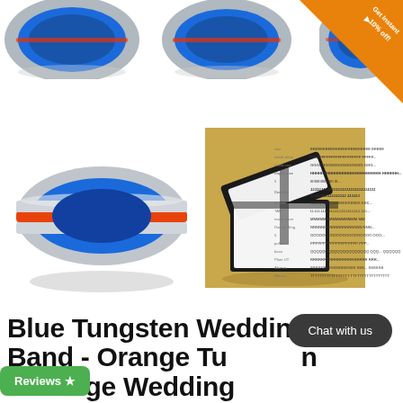[Figure (photo): Three tungsten wedding rings with blue interior and orange stripe, shown from top view, partially cropped at top of page]
[Figure (photo): Close-up of blue tungsten ring with orange center stripe, silver beveled edges, shown at angle]
[Figure (photo): Black jewelry gift box open showing white interior lining, on gold background]
[Figure (photo): Comparison diagram of Comfort Fit Band vs Non-Comfort Fit Band cross-section shapes]
Blue Tungsten Wedding Band - Orange Tungsten - Orange Wedding